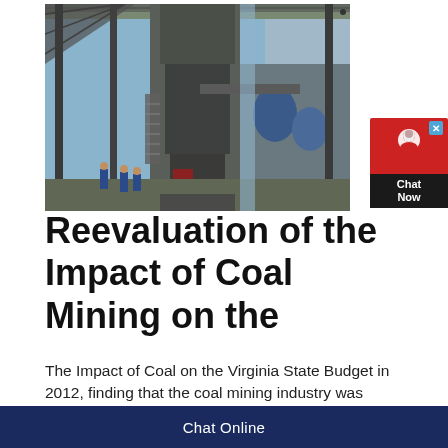[Figure (photo): Industrial coal mining facility interior showing steel structure, conveyor systems, heavy machinery, and workers in blue uniforms at the base of a large processing tower]
Reevaluation of the Impact of Coal Mining on the
The Impact of Coal on the Virginia State Budget in 2012, finding that the coal mining industry was responsible for a net cost of $219 million to the
Chat Online